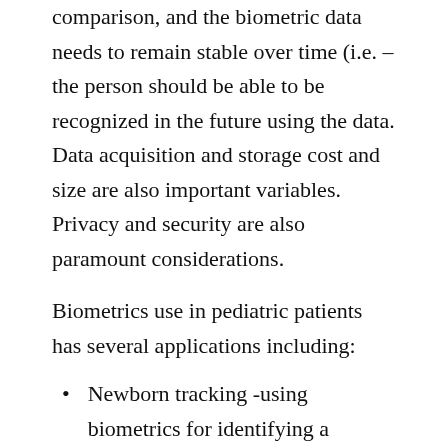sufficient quality and quality for recognition and comparison, and the biometric data needs to remain stable over time (i.e. – the person should be able to be recognized in the future using the data. Data acquisition and storage cost and size are also important variables. Privacy and security are also paramount considerations.
Biometrics use in pediatric patients has several applications including:
Newborn tracking -using biometrics for identifying a newborn and linking them to its mother to prevent newborn swapping in hospitals and maternity wards.
Health care – especially vaccination tracking. Many children in the world do not receive the